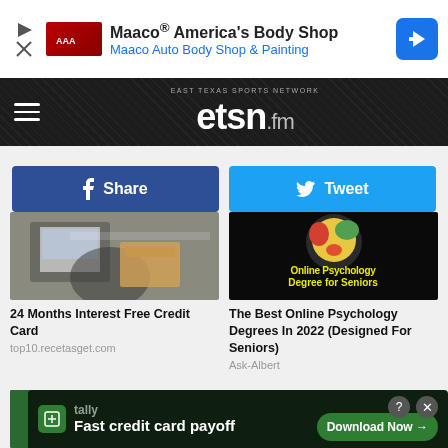[Figure (screenshot): Maaco advertisement banner: America's Body Shop, Maaco Auto Body Shop & Painting with blue arrow logo]
etsn.fm — East Texas Sports Network
Share
Tweet
[Figure (photo): Person sitting on floor using laptop with packages nearby, overhead view]
24 Months Interest Free Credit Card
top10.recetasget.com
[Figure (illustration): Online Psychology Degree for Seniors advertisement with colorful abstract art]
The Best Online Psychology Degrees In 2022 (Designed For Seniors)
Ask-Albert
[Figure (illustration): Blue background illustration with person figure]
[Figure (photo): Stove burner with flame]
[Figure (screenshot): Tally app advertisement: Fast credit card payoff, Download Now button]